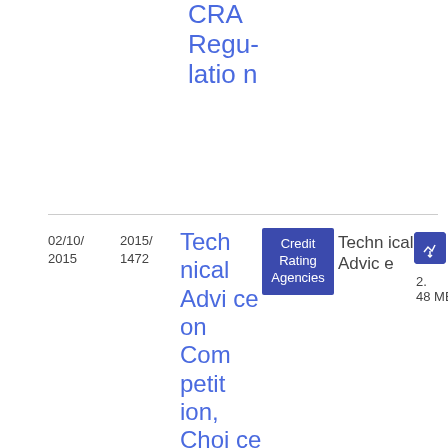CRA Regulation
| Date | Number | Title | Category | Type | File |
| --- | --- | --- | --- | --- | --- |
| 02/10/2015 | 2015/1472 | Technical Advice on Competition, Choice and Conflicts of Interest in | Credit Rating Agencies | Technical Advice | PDF 2.48 MB |